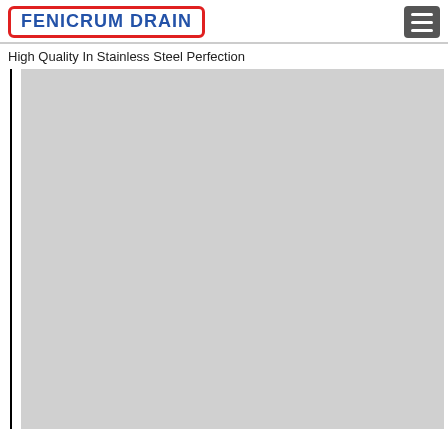FENICRUM DRAIN — High Quality In Stainless Steel Perfection
High Quality In Stainless Steel Perfection
[Figure (photo): Large gray placeholder image area with a vertical black border line on the left side, likely a product or catalog image placeholder for Fenicrum Drain stainless steel products.]